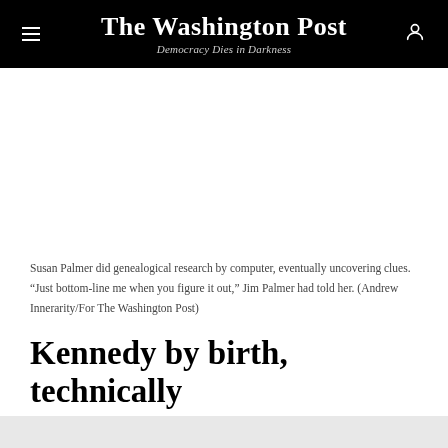The Washington Post
Democracy Dies in Darkness
Susan Palmer did genealogical research by computer, eventually uncovering clues. “Just bottom-line me when you figure it out,” Jim Palmer had told her. (Andrew Innerarity/For The Washington Post)
Kennedy by birth, technically
The plaque in Cooperstown, N.Y., in a wing of the